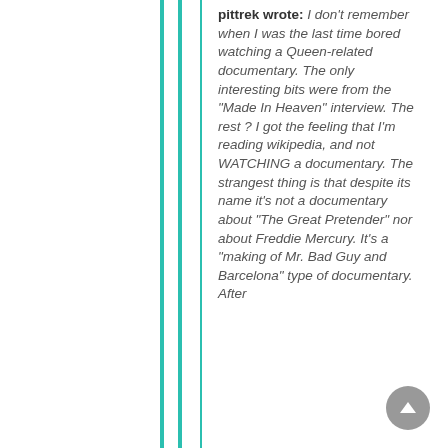pittrek wrote: I don't remember when I was the last time bored watching a Queen-related documentary. The only interesting bits were from the "Made In Heaven" interview. The rest ? I got the feeling that I'm reading wikipedia, and not WATCHING a documentary. The strangest thing is that despite its name it's not a documentary about "The Great Pretender" nor about Freddie Mercury. It's a "making of Mr. Bad Guy and Barcelona" type of documentary. After